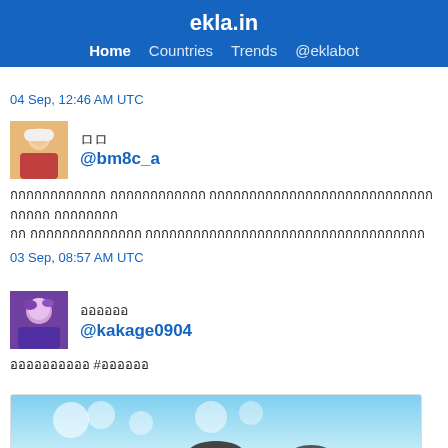ekla.in — Home Countries Trends @eklabot
04 Sep, 12:46 AM UTC
ロロ
@bm8c_a
Thai text tweet content — 03 Sep, 08:57 AM UTC
ออออออ
@kakage0904
Thai tweet text #hashtag
[Figure (screenshot): Partial image preview at bottom of page showing anime-style illustration with blue/light background]